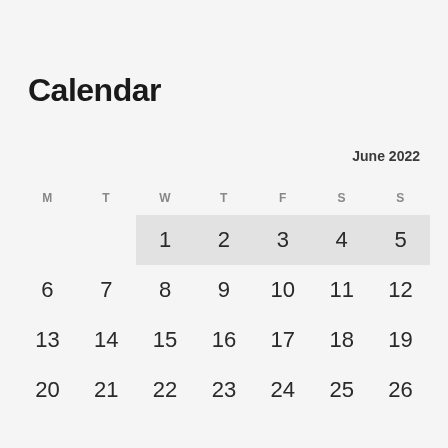Calendar
June 2022
| M | T | W | T | F | S | S |
| --- | --- | --- | --- | --- | --- | --- |
|  |  | 1 | 2 | 3 | 4 | 5 |
| 6 | 7 | 8 | 9 | 10 | 11 | 12 |
| 13 | 14 | 15 | 16 | 17 | 18 | 19 |
| 20 | 21 | 22 | 23 | 24 | 25 | 26 |